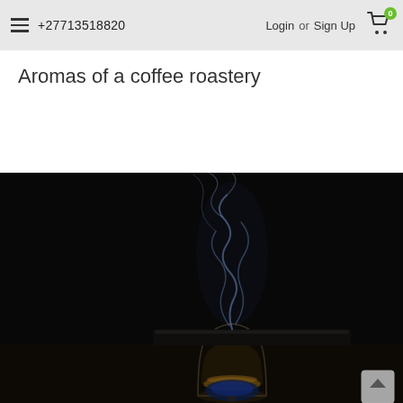+27713518820   Login or Sign Up  [cart: 0]
Aromas of a coffee roastery
[Figure (photo): Dark moody photograph of a glass with amber liquid and a dark flat object (possibly a lid or board) resting on top, with blue-tinged smoke rising dramatically against a black background]